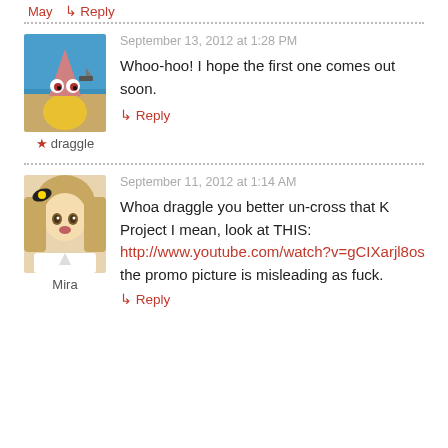Reply
September 13, 2012 at 1:28 PM
Whoo-hoo! I hope the first one comes out soon.
★ draggle
Reply
September 11, 2012 at 1:14 AM
Whoa draggle you better un-cross that K Project I mean, look at THIS: http://www.youtube.com/watch?v=gCIXarjl8os the promo picture is misleading as fuck.
Mira
Reply